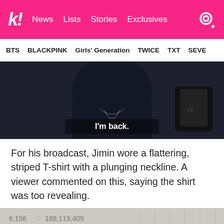k! News Lists Stories Exclusives
BTS BLACKPINK Girls' Generation TWICE TXT SEVE...
[Figure (screenshot): Screenshot of a video broadcast showing a person in dark clothing with text overlay 'I'm back.']
For his broadcast, Jimin wore a flattering, striped T-shirt with a plunging neckline. A viewer commented on this, saying the shirt was too revealing.
[Figure (screenshot): Screenshot of a live broadcast showing viewer count 6,156 and heart count 188,119,409 and comment count 32, with a person's face visible below.]